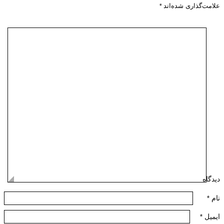علامت‌گذاری شده‌اند *
دیدگاه
نام *
ایمیل *
وبسایت
ارسال دیدگاه
جست و جو در سایت
جستجو:   جستجوی ...   جستجو
آخرین اخبار